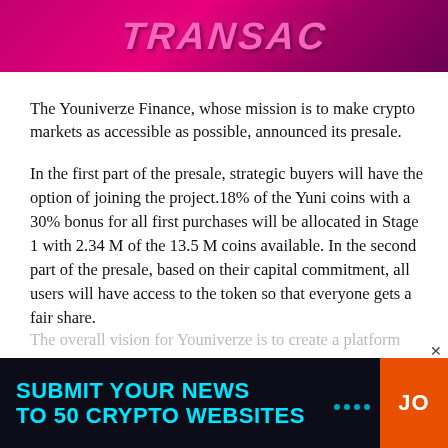[Figure (illustration): Pink/magenta banner header with stylized italic bold text reading 'TRANSAC' (partially visible), red/pink gradient background with dot texture pattern]
The Youniverze Finance, whose mission is to make crypto markets as accessible as possible, announced its presale.
In the first part of the presale, strategic buyers will have the option of joining the project.18% of the Yuni coins with a 30% bonus for all first purchases will be allocated in Stage 1 with 2.34 M of the 13.5 M coins available. In the second part of the presale, based on their capital commitment, all users will have access to the token so that everyone gets a fair share.
The overall vision for Youniverze is to create a platform
[Figure (infographic): Dark navy advertisement banner with cyan bold text 'SUBMIT YOUR NEWS TO 50 CRYPTO WEBSITES', orange button on right with white text 'JO', close X button]